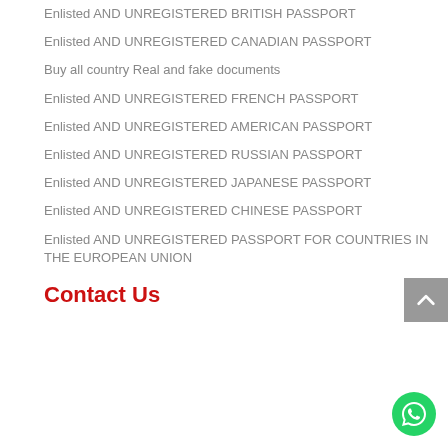Enlisted AND UNREGISTERED BRITISH PASSPORT
Enlisted AND UNREGISTERED CANADIAN PASSPORT
Buy all country Real and fake documents
Enlisted AND UNREGISTERED FRENCH PASSPORT
Enlisted AND UNREGISTERED AMERICAN PASSPORT
Enlisted AND UNREGISTERED RUSSIAN PASSPORT
Enlisted AND UNREGISTERED JAPANESE PASSPORT
Enlisted AND UNREGISTERED CHINESE PASSPORT
Enlisted AND UNREGISTERED PASSPORT FOR COUNTRIES IN THE EUROPEAN UNION
Contact Us